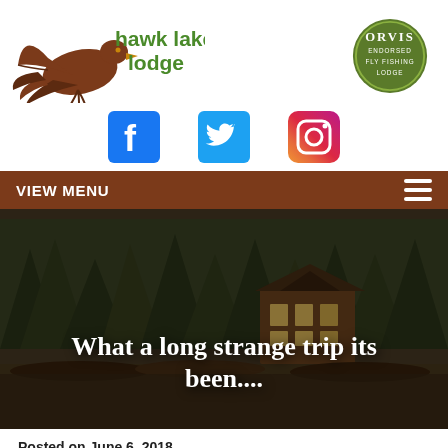[Figure (logo): Hawk Lake Lodge logo with eagle graphic and green text]
[Figure (logo): Orvis Endorsed Fly Fishing Lodge circular green badge]
[Figure (infographic): Social media icons: Facebook (blue square with F), Twitter (blue square with bird), Instagram (gradient square with camera icon)]
VIEW MENU
[Figure (photo): Scenic lake photo with fishing boats in foreground, lodge building and tall pine trees in background, overlaid with white bold text 'What a long strange trip its been....']
Posted on June 6, 2018